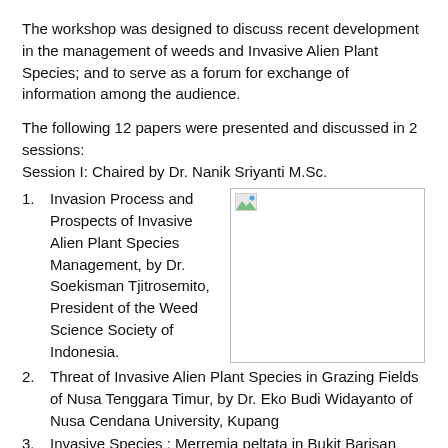The workshop was designed to discuss recent development in the management of weeds and Invasive Alien Plant Species; and to serve as a forum for exchange of information among the audience.
The following 12 papers were presented and discussed in 2 sessions:
Session I: Chaired by Dr. Nanik Sriyanti M.Sc.
[Figure (photo): A placeholder image (broken image icon) with a green/blue small icon in the top-left corner, surrounded by a rectangular border.]
1. Invasion Process and Prospects of Invasive Alien Plant Species Management, by Dr. Soekisman Tjitrosemito, President of the Weed Science Society of Indonesia.
2. Threat of Invasive Alien Plant Species in Grazing Fields of Nusa Tenggara Timur, by Dr. Eko Budi Widayanto of Nusa Cendana University, Kupang
3. Invasive Species : Merremia peltata in Bukit Barisan Selatan National Park, by Ir. Adi Susmianto, M.Sc. and Ir. Ragil Irianto of Forest and Nature Conservation Research and Development